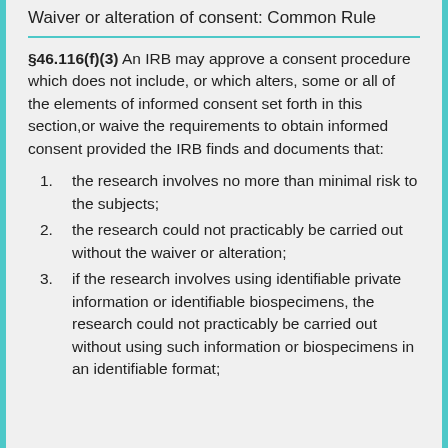Waiver or alteration of consent: Common Rule
§46.116(f)(3) An IRB may approve a consent procedure which does not include, or which alters, some or all of the elements of informed consent set forth in this section,or waive the requirements to obtain informed consent provided the IRB finds and documents that:
the research involves no more than minimal risk to the subjects;
the research could not practicably be carried out without the waiver or alteration;
if the research involves using identifiable private information or identifiable biospecimens, the research could not practicably be carried out without using such information or biospecimens in an identifiable format;